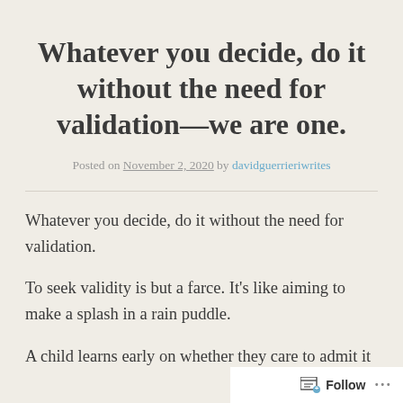Whatever you decide, do it without the need for validation—we are one.
Posted on November 2, 2020 by davidguerrieriwrites
Whatever you decide, do it without the need for validation.
To seek validity is but a farce. It’s like aiming to make a splash in a rain puddle.
A child learns early on whether they care to admit it